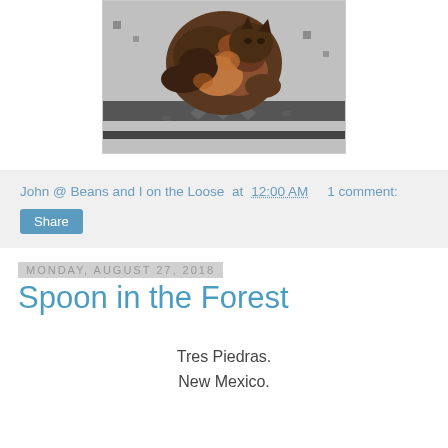[Figure (photo): A tortoiseshell cat curled up sleeping on a black and white patterned blanket/rug]
John @ Beans and I on the Loose at 12:00 AM    1 comment:
Share
Monday, August 27, 2018
Spoon in the Forest
Tres Piedras.
New Mexico.